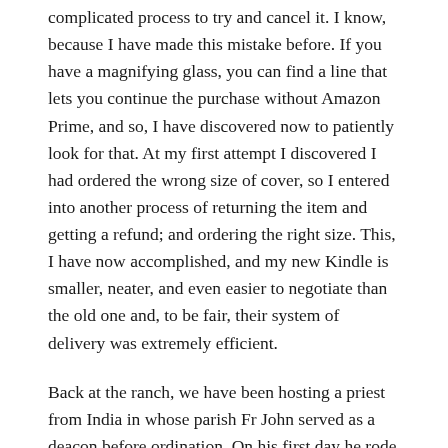complicated process to try and cancel it. I know, because I have made this mistake before. If you have a magnifying glass, you can find a line that lets you continue the purchase without Amazon Prime, and so, I have discovered now to patiently look for that. At my first attempt I discovered I had ordered the wrong size of cover, so I entered into another process of returning the item and getting a refund; and ordering the right size. This, I have now accomplished, and my new Kindle is smaller, neater, and even easier to negotiate than the old one and, to be fair, their system of delivery was extremely efficient.
Back at the ranch, we have been hosting a priest from India in whose parish Fr John served as a deacon before ordination. On his first day he rode the Glasgow tour bus; then he went off on a 3-day bus tour of Scotland, spending 2 nights on the Isle of Skye. He thoroughly enjoyed it; got great weather, and says that there wasn't a midge in site, or bite. How lucky can you get? He has now gone to spend a couple of days in Dublin.